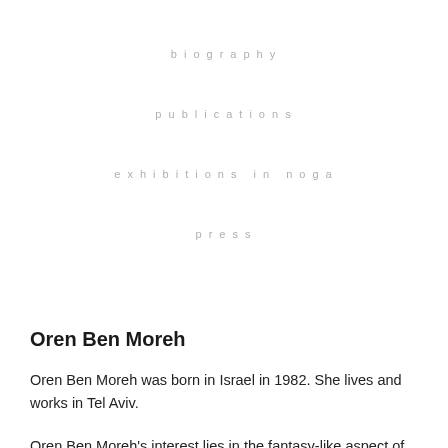biography
publications
exhibitions in noga
press
Oren Ben Moreh
Oren Ben Moreh was born in Israel in 1982. She lives and works in Tel Aviv.
Oren Ben Moreh's interest lies in the fantasy-like aspect of the